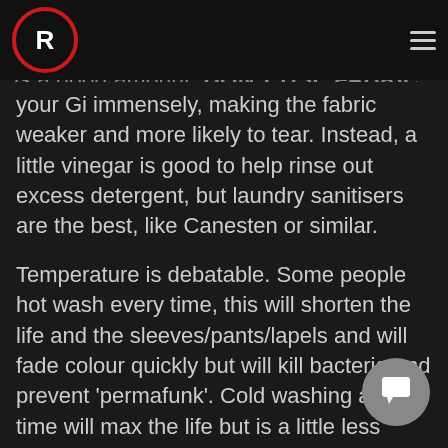R (logo) — navigation header with hamburger menu
white vinegar to help prevent bacteria build-up. And 'permafunk'. Half to 1 cup is a good amount. DON'T USE FABRIC SOFTENER, it will shorten the life of your Gi immensely, making the fabric weaker and more likely to tear. Instead, a little vinegar is good to help rinse out excess detergent, but laundry sanitisers are the best, like Canesten or similar.
Temperature is debatable. Some people hot wash every time, this will shorten the life and the sleeves/pants/lapels and will fade colour quickly but will kill bacteria and prevent 'permafunk'. Cold washing all the time will max the life but is a little less effective at cleaning. I wash at 20 degrees, and every so often, 40-60. If you don't have that much control it's not super important but just know the difference between hot and cold washing your Gi.